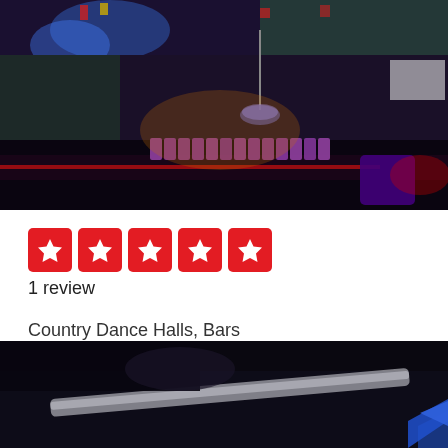[Figure (photo): Interior of a bar/dance hall with dim lighting, purple and blue lights, bar counter with cups lined up, TVs and projection screen visible in background]
[Figure (other): Five red star rating boxes (5 out of 5 stars) shown as Yelp-style rating]
1 review
Country Dance Halls, Bars
+19035869009
954 N Jackson St, Jacksonville, TX 75766
The Stadium Sports Bar
[Figure (photo): Partial photo of bar interior, dark scene with a metallic bar rail visible, blue arrow/chevron icon in bottom right corner]